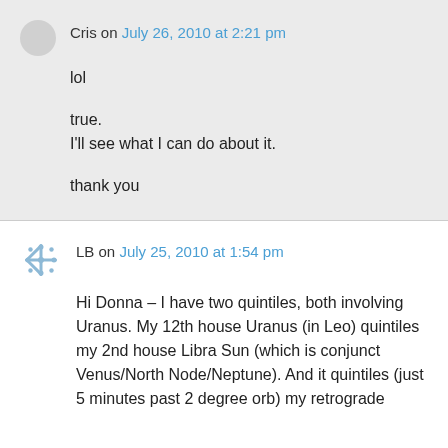Cris on July 26, 2010 at 2:21 pm
lol
true.
I'll see what I can do about it.
thank you
LB on July 25, 2010 at 1:54 pm
Hi Donna – I have two quintiles, both involving Uranus. My 12th house Uranus (in Leo) quintiles my 2nd house Libra Sun (which is conjunct Venus/North Node/Neptune). And it quintiles (just 5 minutes past 2 degree orb) my retrograde